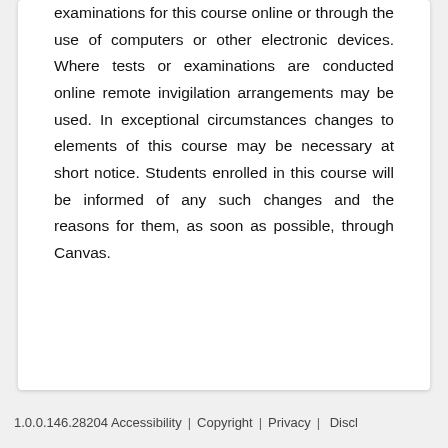examinations for this course online or through the use of computers or other electronic devices. Where tests or examinations are conducted online remote invigilation arrangements may be used. In exceptional circumstances changes to elements of this course may be necessary at short notice. Students enrolled in this course will be informed of any such changes and the reasons for them, as soon as possible, through Canvas.
1.0.0.146.28204 Accessibility | Copyright | Privacy | Discl